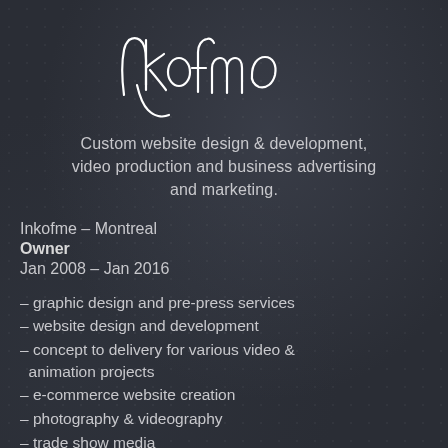[Figure (logo): Inkofme handwritten script logo in white on dark background]
Custom website design & development, video production and business advertising and marketing.
Inkofme – Montreal
Owner
Jan 2008 – Jan 2016
– graphic design and pre-press services
– website design and development
– concept to delivery for various video & animation projects
– e-commerce website creation
– photography & videography
– trade show media